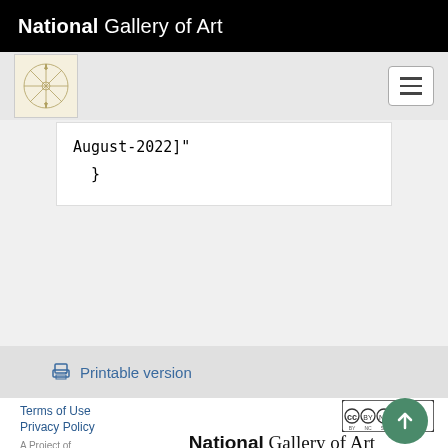National Gallery of Art
August-2022]"
  }
Printable version
Terms of Use
Privacy Policy
A Project of the Center for Advanced Study in the
[Figure (logo): National Gallery of Art logo]
[Figure (logo): CC BY NC SA license badge]
[Figure (logo): National Gallery of Art footer logo]